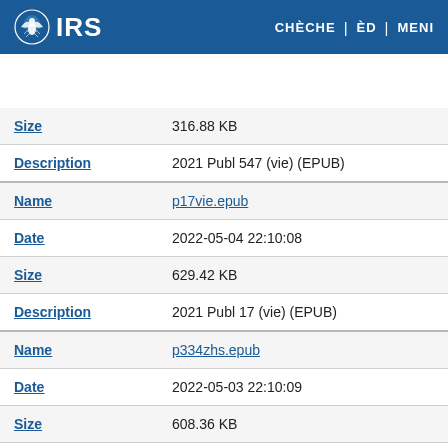IRS | CHÈCHE | ÈD | MENI
| Size | 316.88 KB |
| Description | 2021 Publ 547 (vie) (EPUB) |
| Name | p17vie.epub |
| Date | 2022-05-04 22:10:08 |
| Size | 629.42 KB |
| Description | 2021 Publ 17 (vie) (EPUB) |
| Name | p334zhs.epub |
| Date | 2022-05-03 22:10:09 |
| Size | 608.36 KB |
| Description | 2021 Publ 334 (zh-s) (EPUB) |